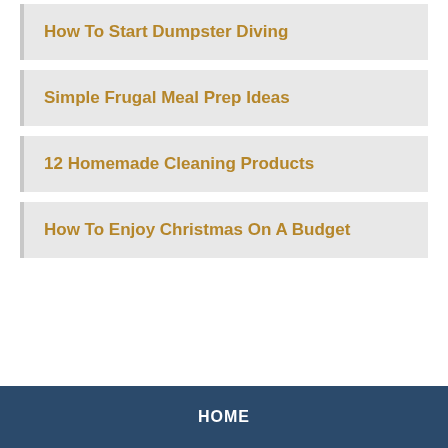How To Start Dumpster Diving
Simple Frugal Meal Prep Ideas
12 Homemade Cleaning Products
How To Enjoy Christmas On A Budget
HOME